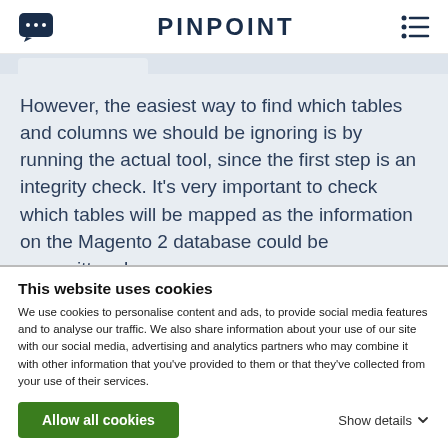PINPOINT
However, the easiest way to find which tables and columns we should be ignoring is by running the actual tool, since the first step is an integrity check. It’s very important to check which tables will be mapped as the information on the Magento 2 database could be overwritten. I
This website uses cookies
We use cookies to personalise content and ads, to provide social media features and to analyse our traffic. We also share information about your use of our site with our social media, advertising and analytics partners who may combine it with other information that you’ve provided to them or that they’ve collected from your use of their services.
Allow all cookies
Show details